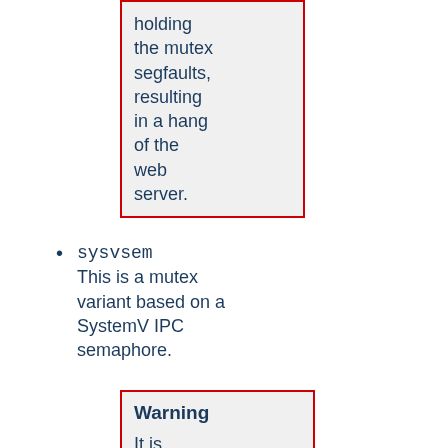holding the mutex segfaults, resulting in a hang of the web server.
sysvsem
This is a mutex variant based on a SystemV IPC semaphore.
Warning
It is possible to "leak" SysV semaphores if processes crash